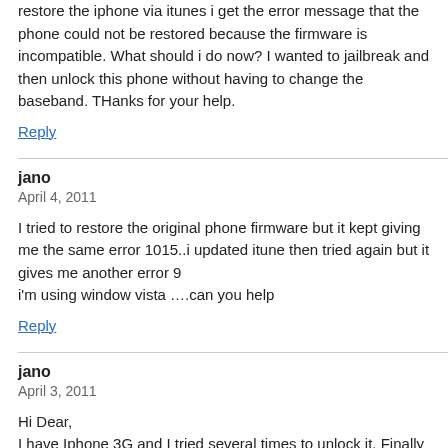restore the iphone via itunes i get the error message that the phone could not be restored because the firmware is incompatible. What should i do now? I wanted to jailbreak and then unlock this phone without having to change the baseband. THanks for your help.
Reply
jano
April 4, 2011
I tried to restore the original phone firmware but it kept giving me the same error 1015..i updated itune then tried again but it gives me another error 9
i'm using window vista ….can you help
Reply
jano
April 3, 2011
Hi Dear,
I have Iphone 3G and I tried several times to unlock it. Finally I partially unlocked it then the WIFI did not work. I tried to restore to the original firmware, but it gave me error 1015 then I tried again and it gave me error 2000. I was trying to download ISO 3.0.1 but each time I tried